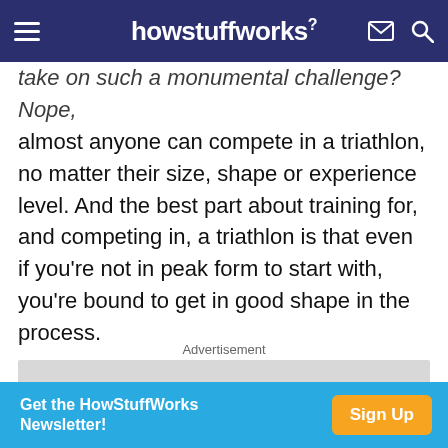howstuffworks
take on such a monumental challenge? Nope, almost anyone can compete in a triathlon, no matter their size, shape or experience level. And the best part about training for, and competing in, a triathlon is that even if you're not in peak form to start with, you're bound to get in good shape in the process.
Advertisement
[Figure (other): Gray advertisement placeholder box]
[Figure (infographic): Blue banner ad: 'Get the HowStuffWorks Newsletter!' with orange 'Sign Up' button]